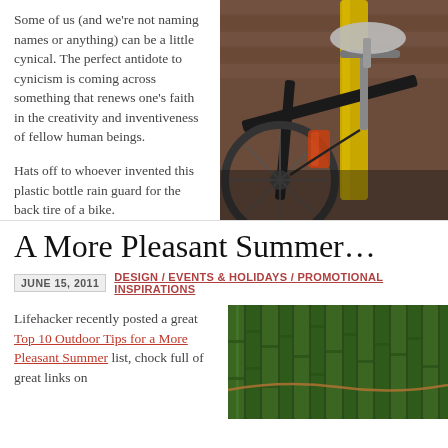Some of us (and we're not naming names or anything) can be a little cynical. The perfect antidote to cynicism is coming across something that renews one's faith in the creativity and inventiveness of fellow human beings.

Hats off to whoever invented this plastic bottle rain guard for the back tire of a bike.
[Figure (photo): Close-up photograph of a bicycle locked to a yellow pole, showing the seat, handlebars, and a plastic bottle used as a rain guard on the back tire.]
A More Pleasant Summer…
JUNE 15, 2011   DESIGN / EVENTS & HOLIDAYS / PROMOTIONAL INSPIRATIONS
Lifehacker recently posted a great Top 10 Outdoor Tips for a More Pleasant Summer list, chock full of great links on
[Figure (photo): Close-up photograph of green bamboo or reeds arranged densely.]